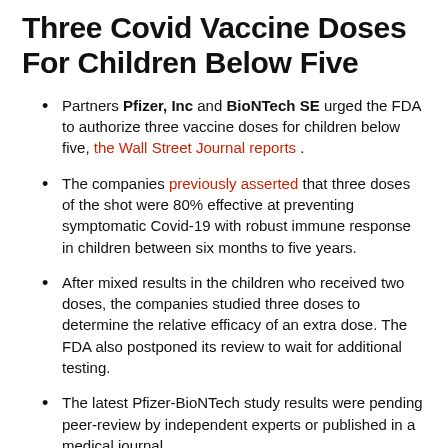Three Covid Vaccine Doses For Children Below Five
Partners Pfizer, Inc and BioNTech SE urged the FDA to authorize three vaccine doses for children below five, the Wall Street Journal reports.
The companies previously asserted that three doses of the shot were 80% effective at preventing symptomatic Covid-19 with robust immune response in children between six months to five years.
After mixed results in the children who received two doses, the companies studied three doses to determine the relative efficacy of an extra dose. The FDA also postponed its review to wait for additional testing.
The latest Pfizer-BioNTech study results were pending peer-review by independent experts or published in a medical journal.
The Food and Drug Administration also weighed a